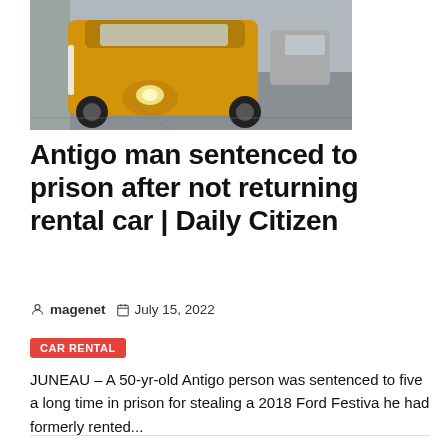[Figure (photo): Photo of a yellow/gold three-wheeled motorized vehicle (auto-rickshaw/tuk-tuk) parked on a street]
Antigo man sentenced to prison after not returning rental car | Daily Citizen
magenet   July 15, 2022
CAR RENTAL
JUNEAU – A 50-yr-old Antigo person was sentenced to five a long time in prison for stealing a 2018 Ford Festiva he had formerly rented...